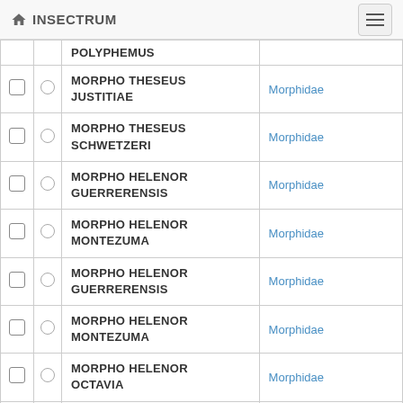INSECTRUM
|  |  | Name | Family |
| --- | --- | --- | --- |
|  |  | POLYPHEMUS |  |
| ☐ | ○ | MORPHO THESEUS JUSTITIAE | Morphidae |
| ☐ | ○ | MORPHO THESEUS SCHWETZERI | Morphidae |
| ☐ | ○ | MORPHO HELENOR GUERRERENSIS | Morphidae |
| ☐ | ○ | MORPHO HELENOR MONTEZUMA | Morphidae |
| ☐ | ○ | MORPHO HELENOR GUERRERENSIS | Morphidae |
| ☐ | ○ | MORPHO HELENOR MONTEZUMA | Morphidae |
| ☐ | ○ | MORPHO HELENOR OCTAVIA | Morphidae |
| ☐ | ○ | MORPHO HELENOR OCTAVIA | Morphidae |